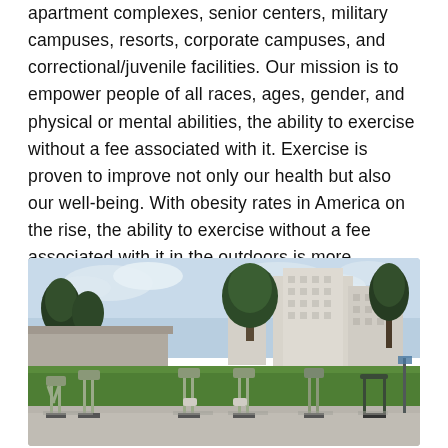apartment complexes, senior centers, military campuses, resorts, corporate campuses, and correctional/juvenile facilities. Our mission is to empower people of all races, ages, gender, and physical or mental abilities, the ability to exercise without a fee associated with it. Exercise is proven to improve not only our health but also our well-being. With obesity rates in America on the rise, the ability to exercise without a fee associated with it in the outdoors is more important than ever.
[Figure (photo): Outdoor fitness equipment area on a concrete pad with a green lawn behind it, and large white multi-story buildings and trees in the background under a partly cloudy sky.]